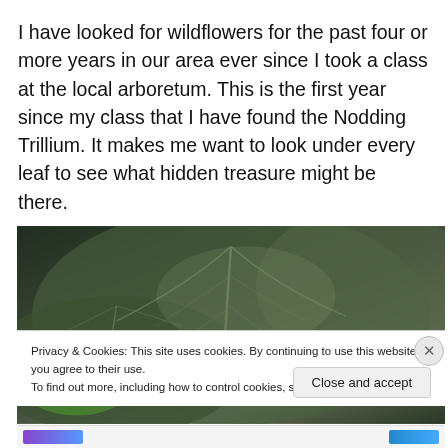I have looked for wildflowers for the past four or more years in our area ever since I took a class at the local arboretum. This is the first year since my class that I have found the Nodding Trillium. It makes me want to look under every leaf to see what hidden treasure might be there.
[Figure (photo): Close-up photo of large green leaves with visible veins, dark background, showing Nodding Trillium plant foliage]
Privacy & Cookies: This site uses cookies. By continuing to use this website, you agree to their use.
To find out more, including how to control cookies, see here: Cookie Policy
Close and accept